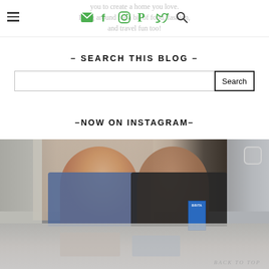you to create a home you love. Hang around for a bit of food, fashion, and travel fun too!
– SEARCH THIS BLOG –
Search
–NOW ON INSTAGRAM–
[Figure (photo): Two people standing in a store, woman in blue floral t-shirt with long hair, man in black t-shirt, store shelves with products including a Brita water filter box visible]
BACK TO TOP